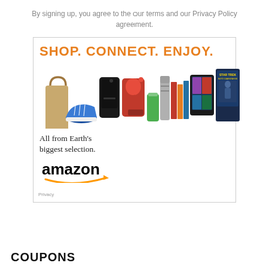By signing up, you agree to the our terms and our Privacy Policy agreement.
[Figure (illustration): Amazon advertisement banner showing products (bag, shoes, gaming console, stand mixer, blender cup, shaker, books, tablet, Kindle, Star Trek movie) with text 'SHOP. CONNECT. ENJOY.' and 'All from Earth's biggest selection.' and Amazon logo with arrow smile. Privacy label in bottom-left corner.]
COUPONS